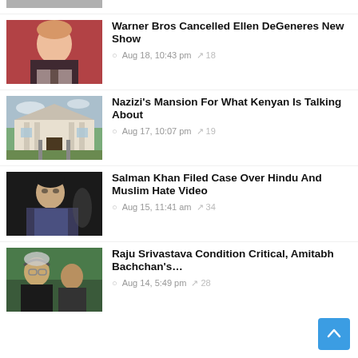[Figure (photo): Partially visible photo at top of page, cropped]
Warner Bros Cancelled Ellen DeGeneres New Show
Aug 18, 10:43 pm  18
Nazizi's Mansion For What Kenyan Is Talking About
Aug 17, 10:07 pm  19
Salman Khan Filed Case Over Hindu And Muslim Hate Video
Aug 15, 11:41 am  34
Raju Srivastava Condition Critical, Amitabh Bachchan's…
Aug 14, 5:49 pm  28